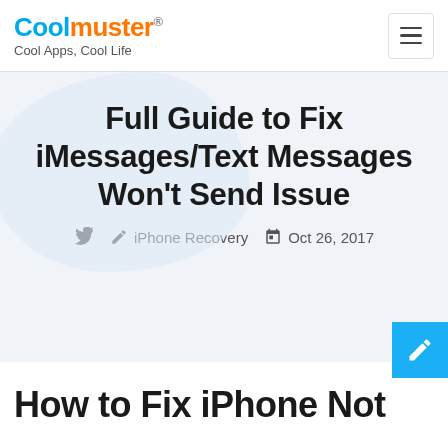Coolmuster® — Cool Apps, Cool Life
Full Guide to Fix iMessages/Text Messages Won't Send Issue
iPhone Recovery  Oct 26, 2017
How to Fix iPhone Not